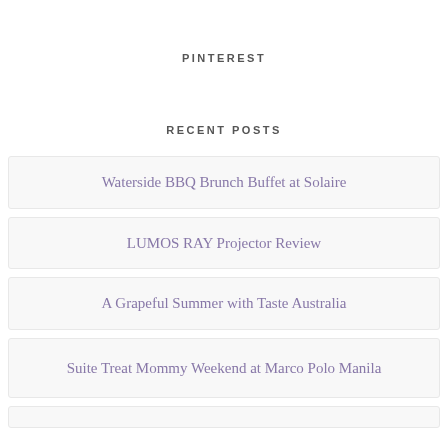PINTEREST
RECENT POSTS
Waterside BBQ Brunch Buffet at Solaire
LUMOS RAY Projector Review
A Grapeful Summer with Taste Australia
Suite Treat Mommy Weekend at Marco Polo Manila